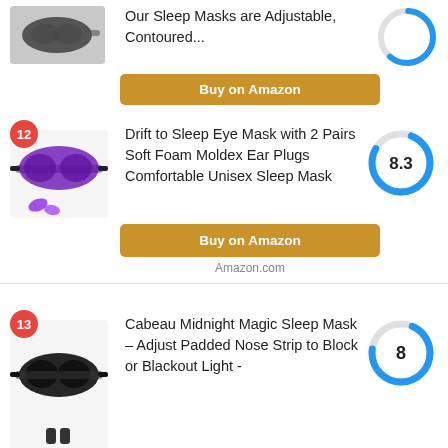Our Sleep Masks are Adjustable, Contoured...
Buy on Amazon
Amazon.com
Drift to Sleep Eye Mask with 2 Pairs Soft Foam Moldex Ear Plugs Comfortable Unisex Sleep Mask
8.3
Buy on Amazon
Amazon.com
Cabeau Midnight Magic Sleep Mask – Adjust Padded Nose Strip to Block or Blackout Light -
8